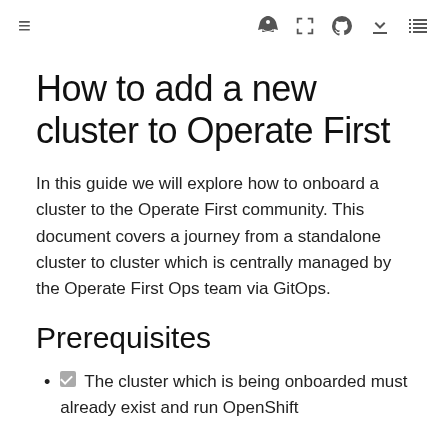≡  [icons: rocket, fullscreen, github, download, list]
How to add a new cluster to Operate First
In this guide we will explore how to onboard a cluster to the Operate First community. This document covers a journey from a standalone cluster to cluster which is centrally managed by the Operate First Ops team via GitOps.
Prerequisites
The cluster which is being onboarded must already exist and run OpenShift